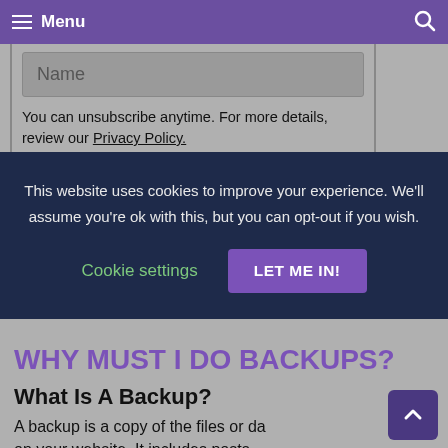Menu
Name
You can unsubscribe anytime. For more details, review our Privacy Policy.
Opt in to receive news and updates.
This website uses cookies to improve your experience. We'll assume you're ok with this, but you can opt-out if you wish.
Cookie settings  LET ME IN!
WHY MUST I DO BACKUPS?
What Is A Backup?
A backup is a copy of the files or data on your website. It includes posts